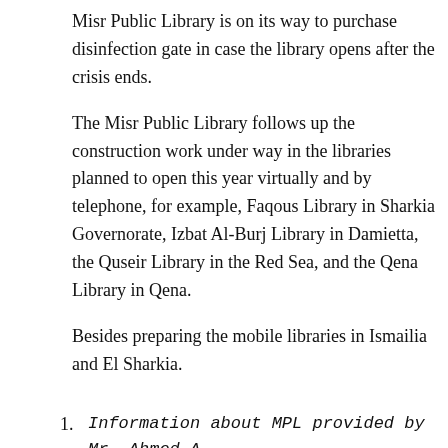Misr Public Library is on its way to purchase disinfection gate in case the library opens after the crisis ends.
The Misr Public Library follows up the construction work under way in the libraries planned to open this year virtually and by telephone, for example, Faqous Library in Sharkia Governorate, Izbat Al-Burj Library in Damietta, the Quseir Library in the Red Sea, and the Qena Library in Qena.
Besides preparing the mobile libraries in Ismailia and El Sharkia.
Information about MPL provided by Mr. Ahmed A, Deputy Director of Misr Public Library.
Categories: General | Topics: covid-19, egypt, libraries during covid-19, public libraries
1 Response to “Public libraries in Egypt during covid-19”
Ibrahim